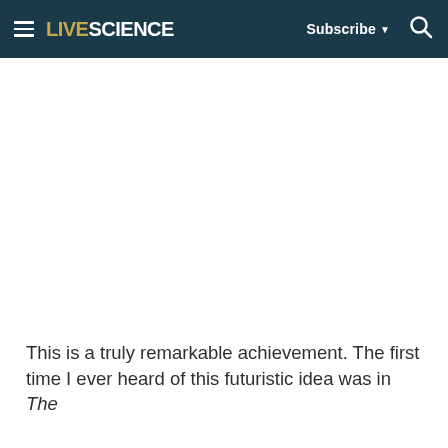LIVESCIENCE  Subscribe  🔍
This is a truly remarkable achievement. The first time I ever heard of this futuristic idea was in The